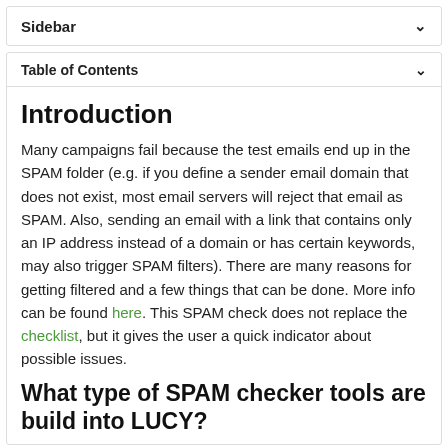Sidebar
Table of Contents
Introduction
Many campaigns fail because the test emails end up in the SPAM folder (e.g. if you define a sender email domain that does not exist, most email servers will reject that email as SPAM. Also, sending an email with a link that contains only an IP address instead of a domain or has certain keywords, may also trigger SPAM filters). There are many reasons for getting filtered and a few things that can be done. More info can be found here. This SPAM check does not replace the checklist, but it gives the user a quick indicator about possible issues.
What type of SPAM checker tools are build into LUCY?